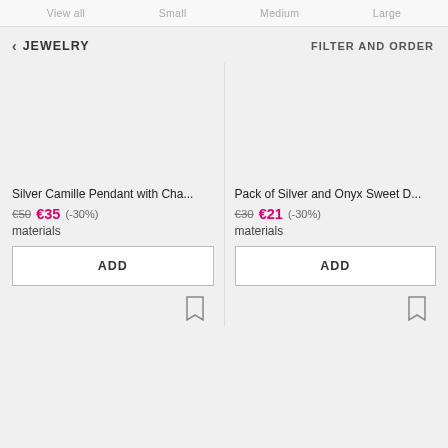View all   Small   Medium   Large
< JEWELRY
FILTER AND ORDER
Silver Camille Pendant with Cha...
€50  €35  (-30%)
materials
ADD
Pack of Silver and Onyx Sweet D...
€30  €21  (-30%)
materials
ADD